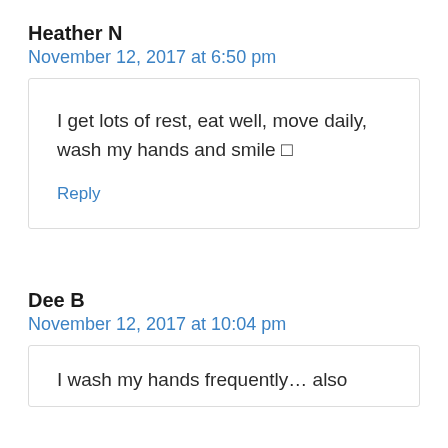Heather N
November 12, 2017 at 6:50 pm
I get lots of rest, eat well, move daily, wash my hands and smile 🙂
Reply
Dee B
November 12, 2017 at 10:04 pm
I wash my hands frequently… also